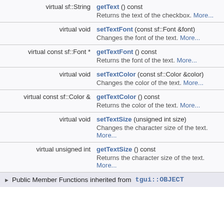| Return type | Function |
| --- | --- |
| virtual sf::String | getText () const
Returns the text of the checkbox. More... |
| virtual void | setTextFont (const sf::Font &font)
Changes the font of the text. More... |
| virtual const sf::Font * | getTextFont () const
Returns the font of the text. More... |
| virtual void | setTextColor (const sf::Color &color)
Changes the color of the text. More... |
| virtual const sf::Color & | getTextColor () const
Returns the color of the text. More... |
| virtual void | setTextSize (unsigned int size)
Changes the character size of the text. More... |
| virtual unsigned int | getTextSize () const
Returns the character size of the text. More... |
Public Member Functions inherited from tgui::OBJECT